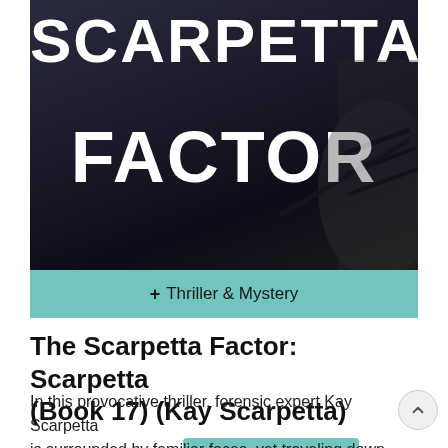[Figure (illustration): Book cover for 'The Scarpetta Factor' showing large bold white text 'SCARPETTA FACTOR' on a dark background with a partial image of a wet dark surface/road visible on the right side. The cover is dark/noir in style.]
+ Thriller & Mystery
The Scarpetta Factor: Scarpetta (Book 17) (Kay Scarpetta)
by Patricia Cornwell  + Subscribe to author
In this provocative thriller, forensic expert Kay Scarpetta is surrounded by familiar faces, yet traveling down the